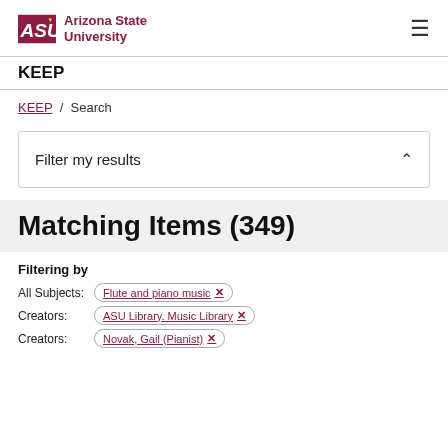ASU Arizona State University KEEP
KEEP / Search
Filter my results
Matching Items (349)
Filtering by
All Subjects: Flute and piano music ×
Creators: ASU Library. Music Library ×
Creators: Novak, Gail (Pianist) ×